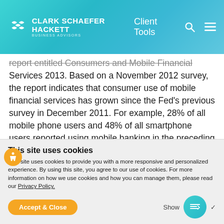Clark Schaefer Hackett — Business Advisors | Client Tools
report entitled Consumers and Mobile Financial Services 2013. Based on a November 2012 survey, the report indicates that consumer use of mobile financial services has grown since the Fed's previous survey in December 2011. For example, 28% of all mobile phone users and 48% of all smartphone users reported using mobile banking in the preceding 12 months, up from
This site uses cookies
This site uses cookies to provide you with a more responsive and personalized experience. By using this site, you agree to our use of cookies. For more information on how we use cookies and how you can manage them, please read our Privacy Policy.
Accept & Close | Show More